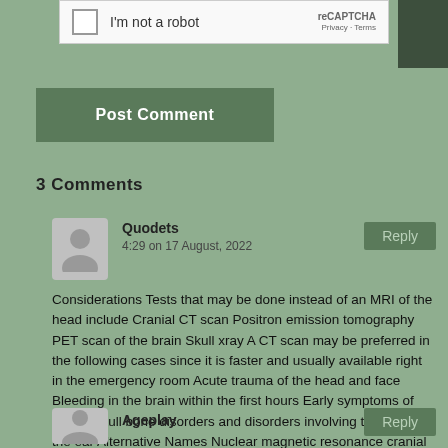[Figure (screenshot): reCAPTCHA widget with 'I'm not a robot' checkbox]
Post Comment
3 Comments
Quodets
4:29 on 17 August, 2022
Considerations Tests that may be done instead of an MRI of the head include Cranial CT scan Positron emission tomography PET scan of the brain Skull xray A CT scan may be preferred in the following cases since it is faster and usually available right in the emergency room Acute trauma of the head and face Bleeding in the brain within the first hours Early symptoms of stroke Skull bone disorders and disorders involving the bones of the ear Alternative Names Nuclear magnetic resonance cranial Magnetic resonance imaging cranial MRI of the head MRI cranial NMR cranial Cranial MRI Brain MRI MRI brain MRI head References Wilkinson ID Paley MNJ. stromectol 12mg
Ageplay